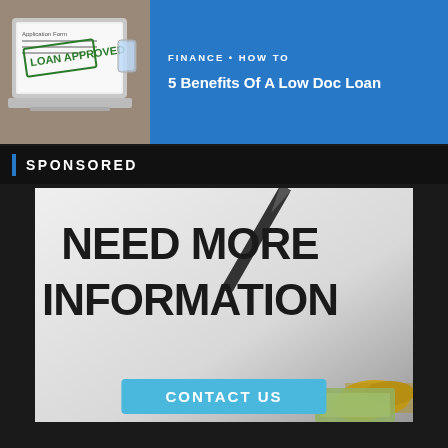[Figure (photo): Photo of a laptop showing a 'LOAN APPROVED' stamp on an Application Form, with a glass of water in the background]
FINANCE • HOW TO
5 Benefits Of A Low Doc Loan
SPONSORED
[Figure (photo): Advertisement image with a pen and coins/money in the background, large bold text reading 'NEED MORE INFORMATION' and a cyan 'CONTACT US' button at the bottom]